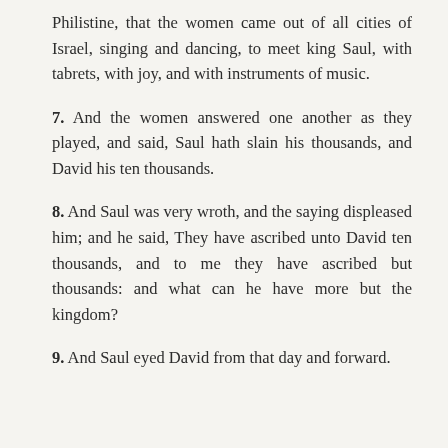Philistine, that the women came out of all cities of Israel, singing and dancing, to meet king Saul, with tabrets, with joy, and with instruments of music.
7. And the women answered one another as they played, and said, Saul hath slain his thousands, and David his ten thousands.
8. And Saul was very wroth, and the saying displeased him; and he said, They have ascribed unto David ten thousands, and to me they have ascribed but thousands: and what can he have more but the kingdom?
9. And Saul eyed David from that day and forward.